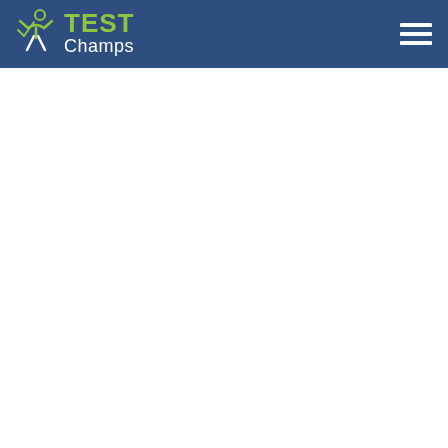[Figure (logo): Test Champs logo with a stylized human figure in green/white on a navy blue header bar, with the text TEST in green and Champs in white, alongside a hamburger menu icon on the right.]